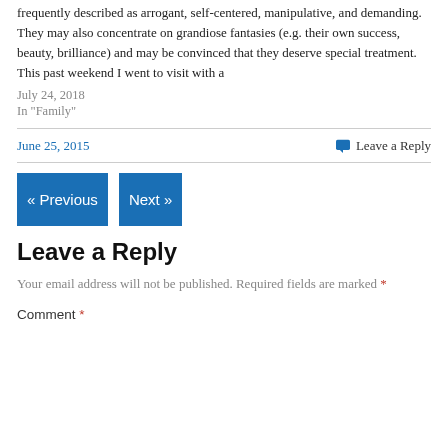frequently described as arrogant, self-centered, manipulative, and demanding. They may also concentrate on grandiose fantasies (e.g. their own success, beauty, brilliance) and may be convinced that they deserve special treatment.  This past weekend I went to visit with a
July 24, 2018
In "Family"
June 25, 2015
Leave a Reply
« Previous
Next »
Leave a Reply
Your email address will not be published. Required fields are marked *
Comment *